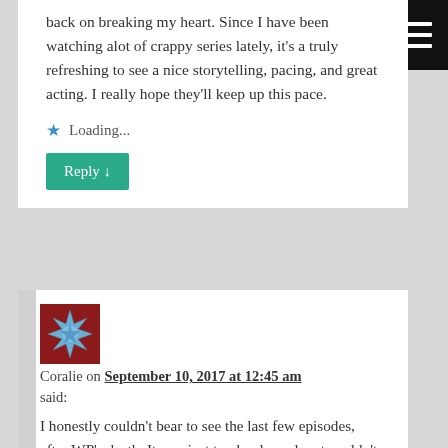back on breaking my heart. Since I have been watching alot of crappy series lately, it’s a truly refreshing to see a nice storytelling, pacing, and great acting. I really hope they’ll keep up this pace.
Loading...
Reply ↓
[Figure (illustration): Avatar image with star burst shape on dark red background for user Coralie]
Coralie on September 10, 2017 at 12:45 am said:
I honestly couldn’t bear to see the last few episodes, after WP’s death. It was just too hard; my heart couldn’t take the amount of torture ZY had to go through post-WP. It’s